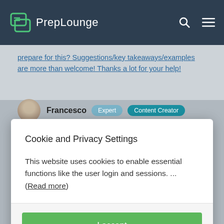PrepLounge
prepare for this? Suggestions/key takeaways/examples are more than welcome! Thanks a lot for your help!
Francesco  Expert  Content Creator
Cookie and Privacy Settings
This website uses cookies to enable essential functions like the user login and sessions. ... (Read more)
I accept
Manage settings individually